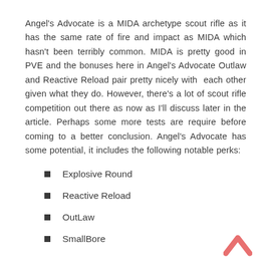Angel's Advocate is a MIDA archetype scout rifle as it has the same rate of fire and impact as MIDA which hasn't been terribly common. MIDA is pretty good in PVE and the bonuses here in Angel's Advocate Outlaw and Reactive Reload pair pretty nicely with each other given what they do. However, there's a lot of scout rifle competition out there as now as I'll discuss later in the article. Perhaps some more tests are require before coming to a better conclusion. Angel's Advocate has some potential, it includes the following notable perks:
Explosive Round
Reactive Reload
OutLaw
SmallBore